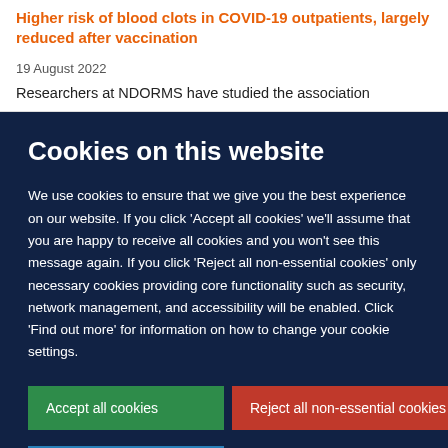Higher risk of blood clots in COVID-19 outpatients, largely reduced after vaccination
19 August 2022
Researchers at NDORMS have studied the association
Cookies on this website
We use cookies to ensure that we give you the best experience on our website. If you click 'Accept all cookies' we'll assume that you are happy to receive all cookies and you won't see this message again. If you click 'Reject all non-essential cookies' only necessary cookies providing core functionality such as security, network management, and accessibility will be enabled. Click 'Find out more' for information on how to change your cookie settings.
Accept all cookies
Reject all non-essential cookies
Find out more